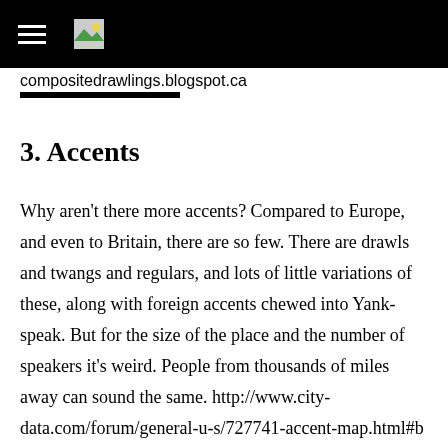compositedrawlings.blogspot.ca
3. Accents
Why aren’t there more accents? Compared to Europe, and even to Britain, there are so few. There are drawls and twangs and regulars, and lots of little variations of these, along with foreign accents chewed into Yank-speak. But for the size of the place and the number of speakers it’s weird. People from thousands of miles away can sound the same. http://www.city-data.com/forum/general-u-s/727741-accent-map.html#b Via city-data.com